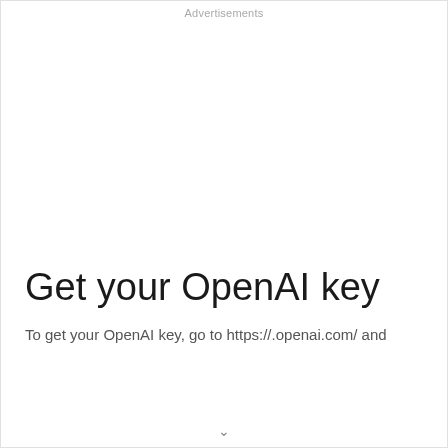Advertisements
Get your OpenAI key
To get your OpenAI key, go to https://.openai.com/ and